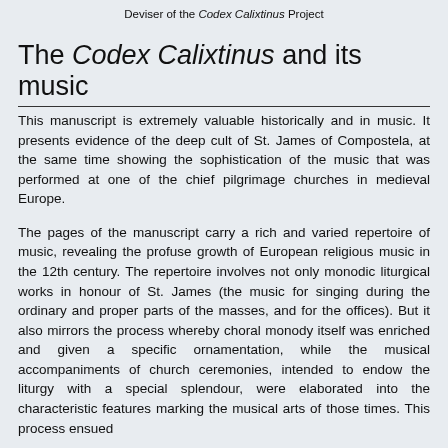Deviser of the Codex Calixtinus Project
The Codex Calixtinus and its music
This manuscript is extremely valuable historically and in music. It presents evidence of the deep cult of St. James of Compostela, at the same time showing the sophistication of the music that was performed at one of the chief pilgrimage churches in medieval Europe.
The pages of the manuscript carry a rich and varied repertoire of music, revealing the profuse growth of European religious music in the 12th century. The repertoire involves not only monodic liturgical works in honour of St. James (the music for singing during the ordinary and proper parts of the masses, and for the offices). But it also mirrors the process whereby choral monody itself was enriched and given a specific ornamentation, while the musical accompaniments of church ceremonies, intended to endow the liturgy with a special splendour, were elaborated into the characteristic features marking the musical arts of those times. This process ensued